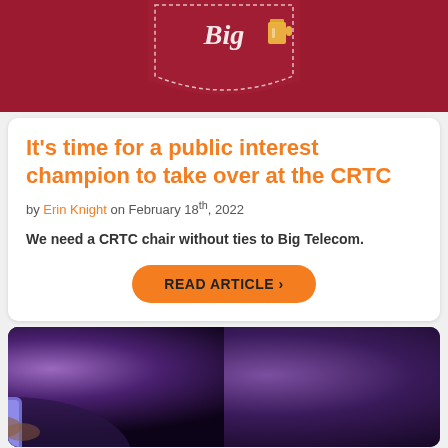[Figure (photo): Top portion of a dark red/crimson promotional image with partial text 'Big' in white script and a small beer mug icon, on a pocket-like white stitched design]
It’s time for a public interest champion to take over at the CRTC
by Erin Knight on February 18th, 2022
We need a CRTC chair without ties to Big Telecom.
READ ARTICLE ›
[Figure (photo): Person in blue/purple lighting holding a smartphone, dark background with purple glow]